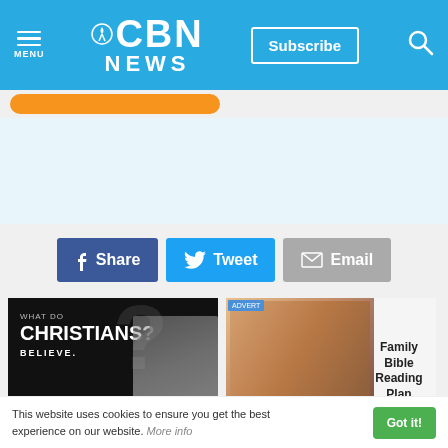CBN NEWS
[Figure (screenshot): Light blue content/banner area]
[Figure (infographic): Social share buttons: Share (Facebook), Tweet (Twitter), Email]
[Figure (photo): What Do Christians Believe - Watch Now promotional card with dark background and person]
Learn from leading experts and uncover biblical truths about what Christians
[Figure (photo): Family Bible Reading Plan ad with family photo and Learn More button]
Cultivate Intimacy With God and Transform Your Life
This website uses cookies to ensure you get the best experience on our website. More info  Got it!